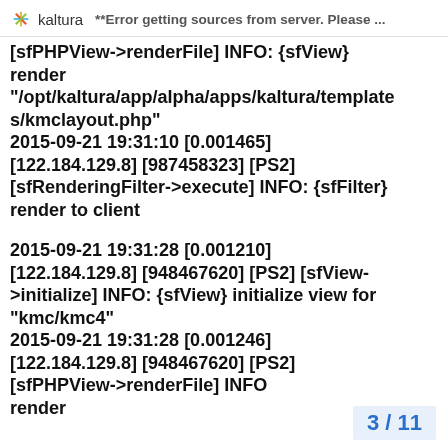kaltura **Error getting sources from server. Please ...
[sfPHPView->renderFile] INFO: {sfView} render "/opt/kaltura/app/alpha/apps/kaltura/templates/kmclayout.php"
2015-09-21 19:31:10 [0.001465] [122.184.129.8] [987458323] [PS2] [sfRenderingFilter->execute] INFO: {sfFilter} render to client
2015-09-21 19:31:28 [0.001210] [122.184.129.8] [948467620] [PS2] [sfView->initialize] INFO: {sfView} initialize view for "kmc/kmc4"
2015-09-21 19:31:28 [0.001246] [122.184.129.8] [948467620] [PS2] [sfPHPView->renderFile] INFO render
3 / 11